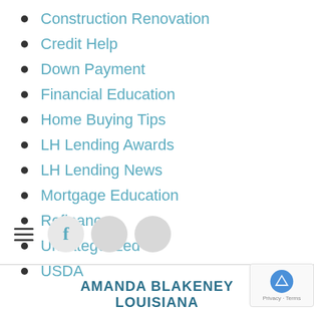Construction Renovation
Credit Help
Down Payment
Financial Education
Home Buying Tips
LH Lending Awards
LH Lending News
Mortgage Education
Refinance
Uncategorized
USDA
[Figure (other): Social media icons bar with hamburger menu, Facebook circle icon, and two grey circle icons]
AMANDA BLAKENEY LOUISIANA